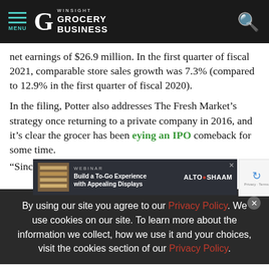MENU | WINSIGHT GROCERY BUSINESS
net earnings of $26.9 million. In the first quarter of fiscal 2021, comparable store sales growth was 7.3% (compared to 12.9% in the first quarter of fiscal 2020).
In the filing, Potter also addresses The Fresh Market’s strategy once returning to a private company in 2016, and it’s clear the grocer has been eying an IPO comeback for some time.
[Figure (screenshot): Ad banner for Alto-Shaam webinar: Build a To-Go Experience with Appealing Displays]
“Since t…
By using our site you agree to our Privacy Policy. We use cookies on our site. To learn more about the information we collect, how we use it and your choices, visit the cookies section of our Privacy Policy.